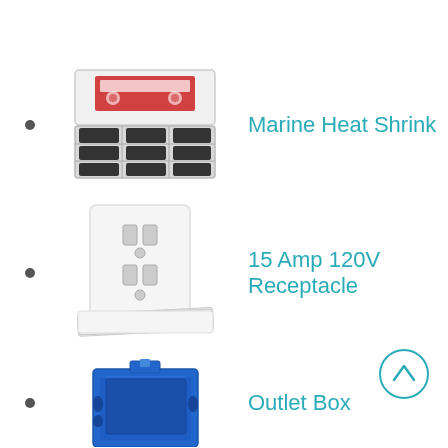Marine Heat Shrink
15 Amp 120V Receptacle
Outlet Box